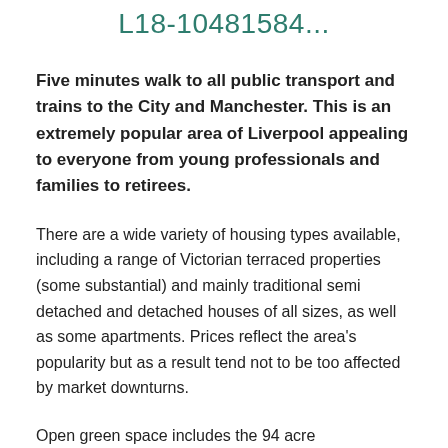L18-10481584...
Five minutes walk to all public transport and trains to the City and Manchester. This is an extremely popular area of Liverpool appealing to everyone from young professionals and families to retirees.
There are a wide variety of housing types available, including a range of Victorian terraced properties (some substantial) and mainly traditional semi detached and detached houses of all sizes, as well as some apartments. Prices reflect the area's popularity but as a result tend not to be too affected by market downturns.
Open green space includes the 94 acre Calderstones Park with a children's playground, ornamental gardens, a lake and a cafe, with Sefton and Greenbank Parks both